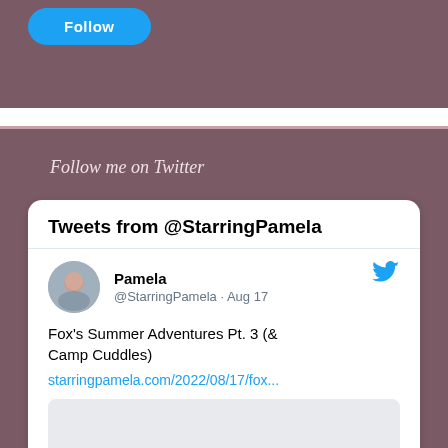[Figure (screenshot): Follow button (blue rounded rectangle) on mauve/purple background]
Follow me on Twitter
[Figure (screenshot): Twitter widget card showing Tweets from @StarringPamela, with a tweet by Pamela (@StarringPamela · Aug 17) about Fox's Summer Adventures Pt. 3 (& Camp Cuddles) with link starringpamela.com/2022/08/17/fox...]